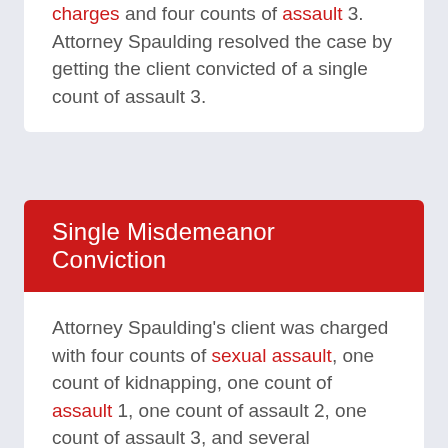charges and four counts of assault 3. Attorney Spaulding resolved the case by getting the client convicted of a single count of assault 3.
Single Misdemeanor Conviction
Attorney Spaulding's client was charged with four counts of sexual assault, one count of kidnapping, one count of assault 1, one count of assault 2, one count of assault 3, and several misdemeanors. Following a three week trial, the client was convicted of only a single misdemeanor.